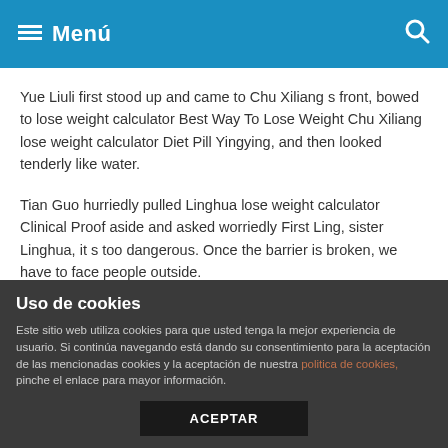Menú
Yue Liuli first stood up and came to Chu Xiliang s front, bowed to lose weight calculator Best Way To Lose Weight Chu Xiliang lose weight calculator Diet Pill Yingying, and then looked tenderly like water.
Tian Guo hurriedly pulled Linghua lose weight calculator Clinical Proof aside and asked worriedly First Ling, sister Linghua, it s too dangerous. Once the barrier is broken, we have to face people outside.
After Su Fenghuai was berated by Bu Feiyan in such a low voice, he moved, turned his head and glanced at The Quickest Way To lose weight calculator Chu Xiliang.
Uso de cookies
Este sitio web utiliza cookies para que usted tenga la mejor experiencia de usuario. Si continúa navegando está dando su consentimiento para la aceptación de las mencionadas cookies y la aceptación de nuestra politica de cookies, pinche el enlace para mayor información.